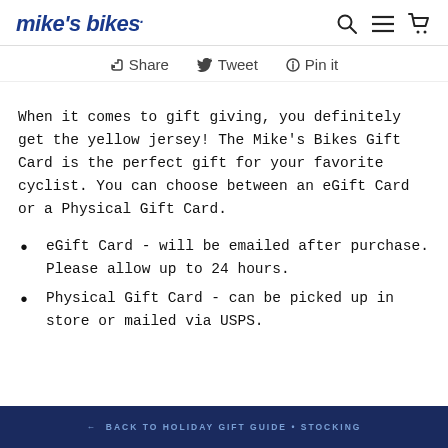mike's bikes. [search] [menu] [cart]
Share  Tweet  Pin it
When it comes to gift giving, you definitely get the yellow jersey! The Mike's Bikes Gift Card is the perfect gift for your favorite cyclist. You can choose between an eGift Card or a Physical Gift Card.
eGift Card - will be emailed after purchase. Please allow up to 24 hours.
Physical Gift Card - can be picked up in store or mailed via USPS.
← BACK TO HOLIDAY GIFT GUIDE • STOCKING